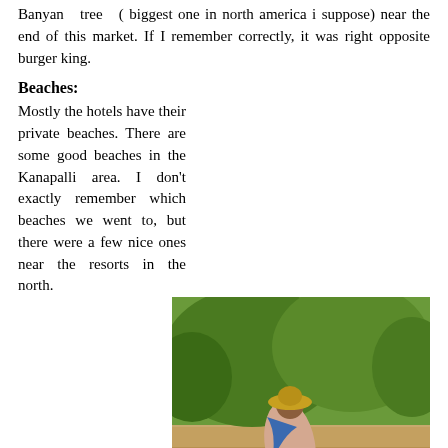Banyan tree ( biggest one in north america i suppose) near the end of this market. If I remember correctly, it was right opposite burger king.
Beaches:
Mostly the hotels have their private beaches. There are some good beaches in the Kanapalli area. I don't exactly remember which beaches we went to, but there were a few nice ones near the resorts in the north.
[Figure (photo): A woman in a saree and sun hat sitting on a sandy beach with green foliage in the background. Luggage and bags are visible beside her.]
Kanapalli beaches
Whale watching:
There is a place where the Hwy 30 takes curve and runs along the coast, where you can do whale watching. We actually did see some whales here and its awesome. It is around Feb-March when you get